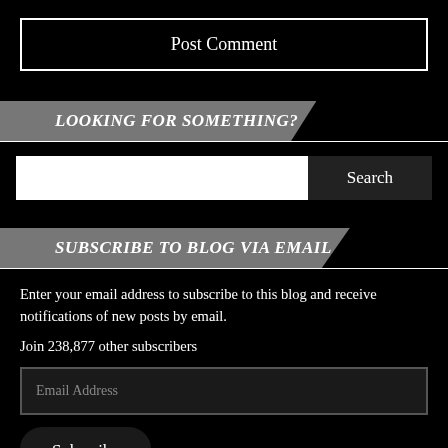Post Comment
LOOKING FOR SOMETHING?
[Figure (screenshot): Search input bar with white background and dark Search button]
SUBSCRIBE TO BLOG VIA EMAIL
Enter your email address to subscribe to this blog and receive notifications of new posts by email.
Join 238,877 other subscribers
[Figure (screenshot): Email Address input field with dark background and border]
Subscribe